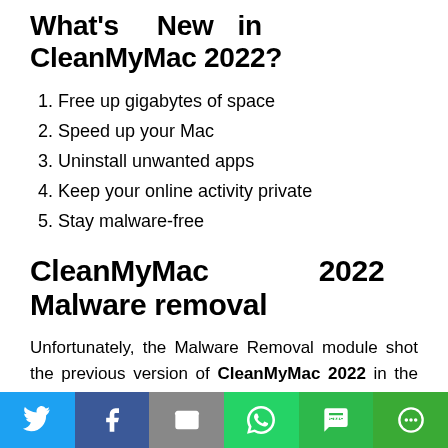What's New in CleanMyMac 2022?
Free up gigabytes of space
Speed up your Mac
Uninstall unwanted apps
Keep your online activity private
Stay malware-free
CleanMyMac 2022 Malware removal
Unfortunately, the Malware Removal module shot the previous version of CleanMyMac 2022 in the foot, and in the latest version, it